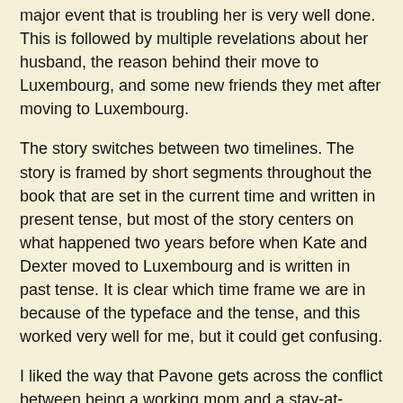major event that is troubling her is very well done. This is followed by multiple revelations about her husband, the reason behind their move to Luxembourg, and some new friends they met after moving to Luxembourg.
The story switches between two timelines. The story is framed by short segments throughout the book that are set in the current time and written in present tense, but most of the story centers on what happened two years before when Kate and Dexter moved to Luxembourg and is written in past tense. It is clear which time frame we are in because of the typeface and the tense, and this worked very well for me, but it could get confusing.
I liked the way that Pavone gets across the conflict between being a working mom and a stay-at-home mom. This is one of those issues in life that may have no good answer (depending on the person and the amount of money available), but the pull of wanting to be with your kids and be a part of their lives versus having responsibilities and a life (and money) of your own is difficult to deal with, and I think he shows that very well.